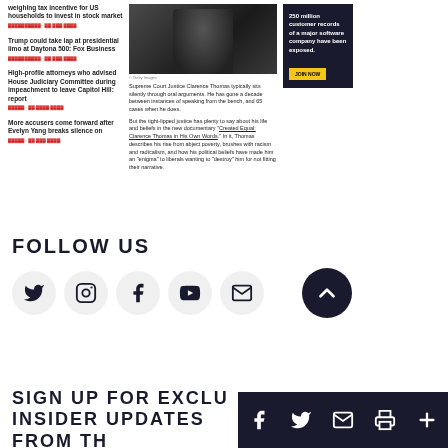weighing tax incentive for US households to invest in stock market
Trump could take lap at presidential limo at Daytona 500: Fox Business
High-profile attorneys who advised House Judiciary Committee during impeachment to leave Capitol Hill: report
More accusers come forward after Evelyn Yang breaks silence on
[Figure (photo): Supreme Court Justice Clarence Thomas portrait photo, formal dark attire]
© Getty Images
Supreme Court Justice Clarence Thomas typically sits silently through oral arguments. He has gone a decade between instances of speaking from the bench, and 65 cases when he does.
But the tight-lipped justice has plenty to say about his life and beliefs in the new documentary "Created Equal: Clarence Thomas in His Own Words." In it, Thomas describes his rise from abject poverty, brushes with racism and radicalism, and how his political beliefs have made him an "enigma" to liberals wanting to "destroy" him for not fitting their narrative.
[Figure (other): Advertisement: 250 million customer records of a major software company have been exposed. Dark background with yellow button.]
FOLLOW US
[Figure (infographic): Social media icons: Twitter, Instagram, Facebook, YouTube, Email in light gray circles, plus dark navy scroll-to-top arrow button]
SIGN UP FOR EXCLU... INSIDER UPDATES FROM TH...
[Figure (infographic): Share bar icons: Facebook, Twitter, Email, Print, Plus — dark navy squares]